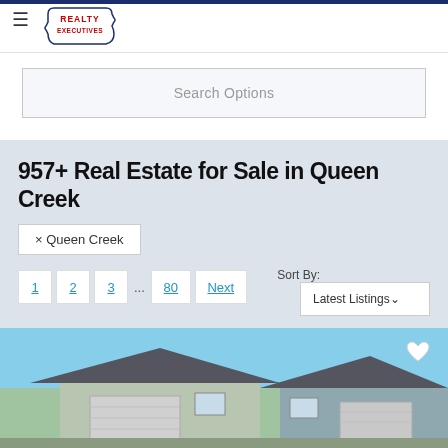[Figure (logo): Realty Executives logo with red text in a decorative badge shape]
Search Options
957+ Real Estate for Sale in Queen Creek
× Queen Creek
Sort By:
1  2  3  ...  80  Next
Latest Listings
[Figure (photo): Exterior photo of residential houses with dark blue/grey siding and garage doors under a blue sky]